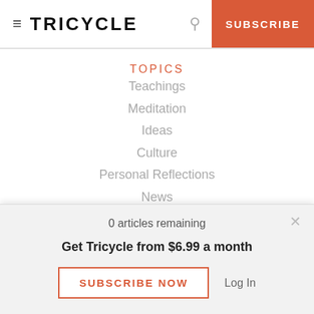≡ TRICYCLE  🔍  SUBSCRIBE
TOPICS
Teachings
Meditation
Ideas
Culture
Personal Reflections
News
Obituaries
Magazine
Dharma Talks
0 articles remaining
Get Tricycle from $6.99 a month
SUBSCRIBE NOW   Log In